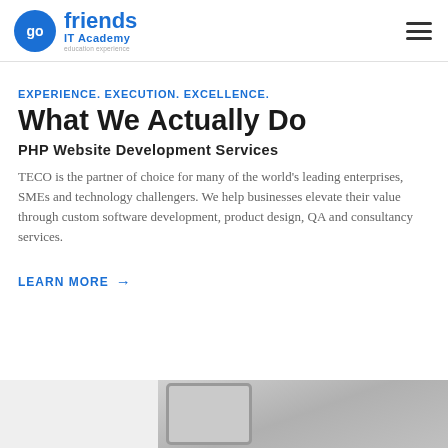go friends IT Academy
EXPERIENCE. EXECUTION. EXCELLENCE.
What We Actually Do
PHP Website Development Services
TECO is the partner of choice for many of the world's leading enterprises, SMEs and technology challengers. We help businesses elevate their value through custom software development, product design, QA and consultancy services.
LEARN MORE →
[Figure (photo): Bottom partial image showing what appears to be a device or tablet, with a light grey background on the left and a darker metallic/grey surface on the right.]